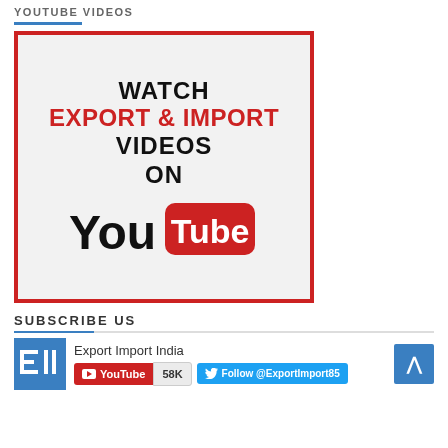YOUTUBE VIDEOS
[Figure (illustration): A promotional graphic with a red border on a light gray background, showing text: WATCH EXPORT & IMPORT VIDEOS ON, followed by the YouTube logo.]
SUBSCRIBE US
[Figure (infographic): Export Import India channel widget showing EII logo, YouTube subscribe button with 58K count, Twitter Follow @ExportImport85 button, and a blue scroll-to-top arrow button.]